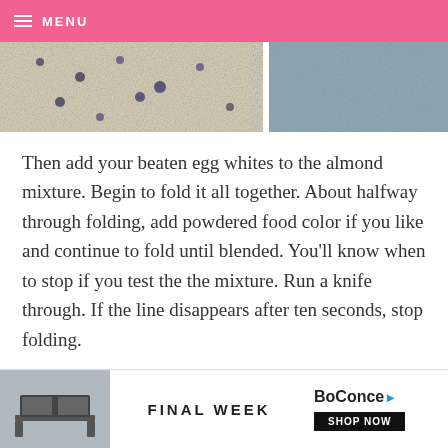MENU
[Figure (photo): Close-up food preparation photos showing almond mixture and blue-tinted mixture side by side]
Then add your beaten egg whites to the almond mixture. Begin to fold it all together. About halfway through folding, add powdered food color if you like and continue to fold until blended. You'll know when to stop if you test the the mixture. Run a knife through. If the line disappears after ten seconds, stop folding.
[Figure (photo): Blurred bottom image partially visible, warm orange and dark tones]
[Figure (other): BoConcept advertisement banner reading FINAL WEEK with SHOP NOW button]